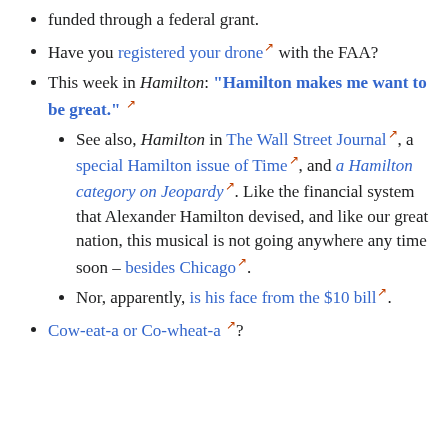funded through a federal grant.
Have you registered your drone [ext] with the FAA?
This week in Hamilton: "Hamilton makes me want to be great." [ext]
See also, Hamilton in The Wall Street Journal [ext], a special Hamilton issue of Time [ext], and a Hamilton category on Jeopardy [ext]. Like the financial system that Alexander Hamilton devised, and like our great nation, this musical is not going anywhere any time soon – besides Chicago [ext].
Nor, apparently, is his face from the $10 bill [ext].
Cow-eat-a or Co-wheat-a [ext]?